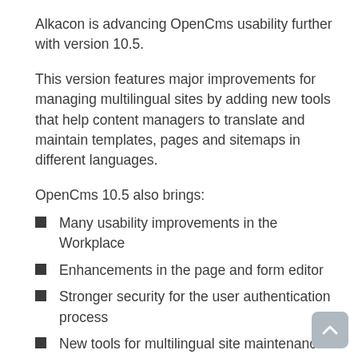Alkacon is advancing OpenCms usability further with version 10.5.
This version features major improvements for managing multilingual sites by adding new tools that help content managers to translate and maintain templates, pages and sitemaps in different languages.
OpenCms 10.5 also brings:
Many usability improvements in the Workplace
Enhancements in the page and form editor
Stronger security for the user authentication process
New tools for multilingual site maintenance
Possibility to natively integrate external asset databases
A greatly enhanced Apollo Template
… and more!
In his conference opening keynote Alexander will present the